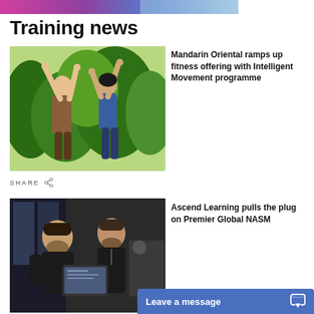[Figure (photo): Colorful banner image at top of page with pink, purple and blue tones, showing fitness/activity scene]
Training news
[Figure (photo): Two women doing stretching exercises outdoors with arms raised, green foliage in background]
Mandarin Oriental ramps up fitness offering with Intelligent Movement programme
SHARE
[Figure (photo): Two men in black clothing looking at a tablet device in a gym setting]
Ascend Learning pulls the plug on Premier Global NASM
Leave a message